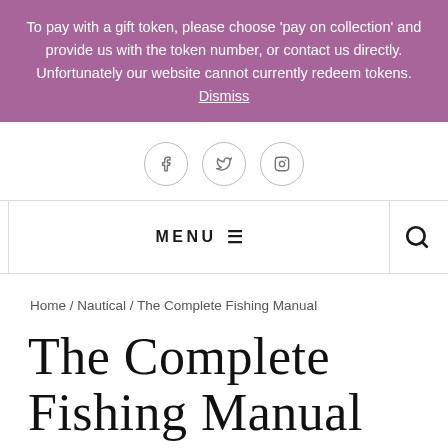To pay with a gift token, please choose 'pay on collection' and provide us with the token number, or contact us directly. Unfortunately our website cannot currently redeem tokens. Dismiss
[Figure (other): Social media icons: Facebook, Twitter, Instagram in circular bordered buttons]
MENU
Home / Nautical / The Complete Fishing Manual
The Complete Fishing Manual